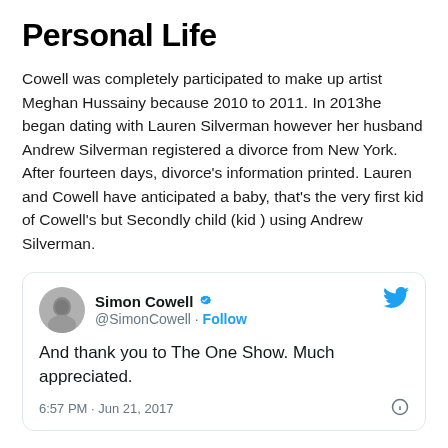Personal Life
Cowell was completely participated to make up artist Meghan Hussainy because 2010 to 2011. In 2013he began dating with Lauren Silverman however her husband Andrew Silverman registered a divorce from New York. After fourteen days, divorce’s information printed. Lauren and Cowell have anticipated a baby, that’s the very first kid of Cowell’s but Secondly child (kid ) using Andrew Silverman.
[Figure (screenshot): Embedded tweet from @SimonCowell verified account. Text: 'And thank you to The One Show. Much appreciated.' Posted at 6:57 PM · Jun 21, 2017. Includes Twitter bird logo.]